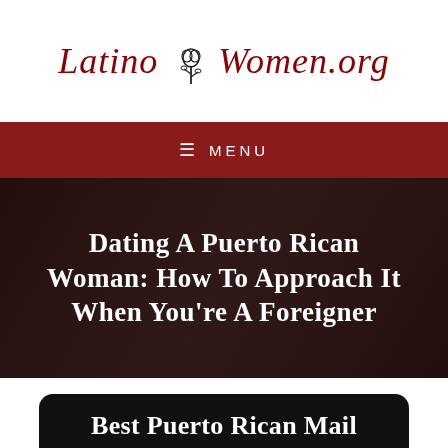[Figure (logo): LatinoWomen.org logo in dark red italic script with a rose illustration in the center]
≡  MENU
Dating A Puerto Rican Woman: How To Approach It When You're A Foreigner
Best Puerto Rican Mail Order Brides Services